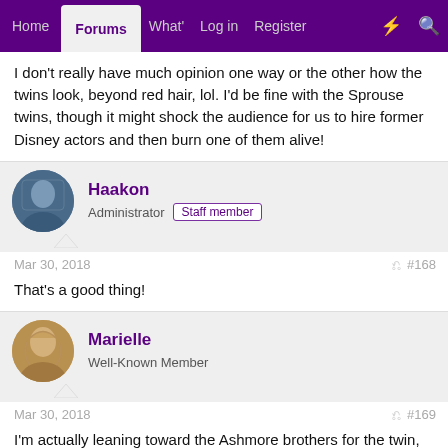Home | Forums | What' | Log in | Register
I don't really have much opinion one way or the other how the twins look, beyond red hair, lol. I'd be fine with the Sprouse twins, though it might shock the audience for us to hire former Disney actors and then burn one of them alive!
Haakon
Administrator  Staff member
Mar 30, 2018  #168
That's a good thing!
Marielle
Well-Known Member
Mar 30, 2018  #169
I'm actually leaning toward the Ashmore brothers for the twin,